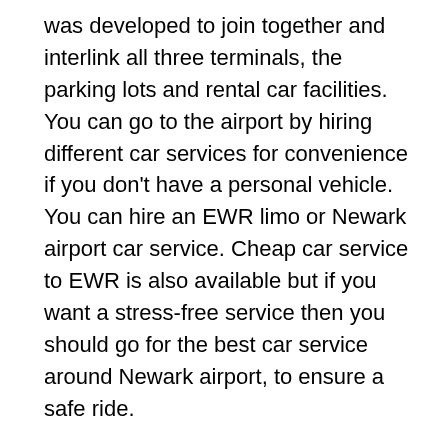was developed to join together and interlink all three terminals, the parking lots and rental car facilities. You can go to the airport by hiring different car services for convenience if you don't have a personal vehicle. You can hire an EWR limo or Newark airport car service. Cheap car service to EWR is also available but if you want a stress-free service then you should go for the best car service around Newark airport, to ensure a safe ride.
Back in the year 2017 Newark airport was considered the sixth busiest airport in the United States, keeping in mind the traffic and arrival of international passengers. In addition to this in the year 2019, the airport bagged the position of being the 43rd busiest airport around the globe, at that time it processed approximately 46.34 million passengers. The world-famous airport provides